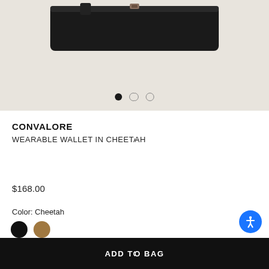[Figure (photo): Product photo of a black wearable wallet with strap on a light beige background]
CONVALORE
WEARABLE WALLET IN CHEETAH
$168.00
Color: Cheetah
[Figure (other): Two color swatches: black circle and tan/brown circle]
ADD TO BAG